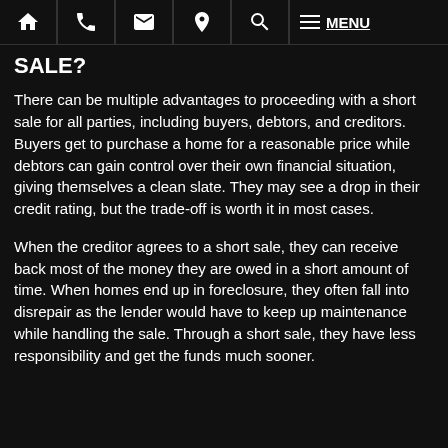MENU (navigation bar with home, phone, mail, location, search, menu icons)
SALE?
There can be multiple advantages to proceeding with a short sale for all parties, including buyers, debtors, and creditors. Buyers get to purchase a home for a reasonable price while debtors can gain control over their own financial situation, giving themselves a clean slate. They may see a drop in their credit rating, but the trade-off is worth it in most cases.
When the creditor agrees to a short sale, they can receive back most of the money they are owed in a short amount of time. When homes end up in foreclosure, they often fall into disrepair as the lender would have to keep up maintenance while handling the sale. Through a short sale, they have less responsibility and get the funds much sooner.